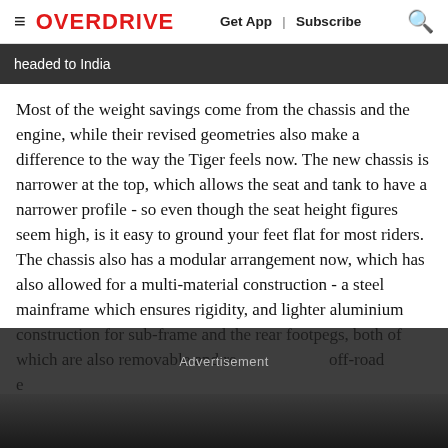≡ OVERDRIVE   Get App | Subscribe 🔍
headed to India
Most of the weight savings come from the chassis and the engine, while their revised geometries also make a difference to the way the Tiger feels now. The new chassis is narrower at the top, which allows the seat and tank to have a narrower profile - so even though the seat height figures seem high, is it easy to ground your feet flat for most riders. The chassis also has a modular arrangement now, which has also allowed for a multi-material construction - a steel mainframe which ensures rigidity, and lighter aluminium construction for sub-frame and the rear footpegs, both of which are also removable and re[…] off-road e[…]
Advertisement